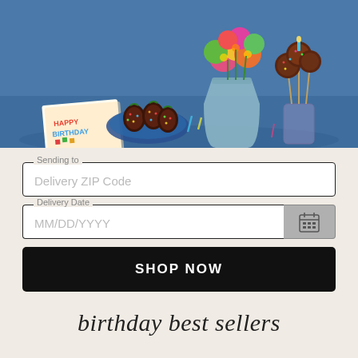[Figure (photo): Birthday gift arrangement on blue background: colorful flower bouquet in glass vase, chocolate-covered strawberries with sprinkles on blue plate, birthday cake pops with sprinkles in glass, birthday card, and candles.]
Sending to
Delivery ZIP Code
Delivery Date
MM/DD/YYYY
SHOP NOW
birthday best sellers